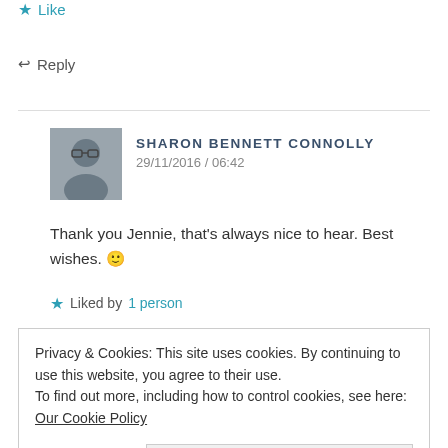★ Like
↩ Reply
SHARON BENNETT CONNOLLY
29/11/2016 / 06:42
Thank you Jennie, that's always nice to hear. Best wishes. 🙂
★ Liked by 1 person
↩ Reply
Privacy & Cookies: This site uses cookies. By continuing to use this website, you agree to their use.
To find out more, including how to control cookies, see here: Our Cookie Policy
Close and accept
too.